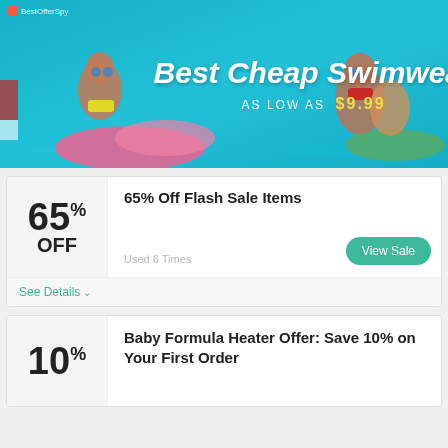[Figure (photo): Banner ad showing women in swimwear at a pool with flamingo float. Text overlay reads 'Best Cheap Swimwear As Low As $9.99'. BestOfferSpy watermark in top-left.]
65% OFF
65% Off Flash Sale Items
View Sale
Used 6 Times
See Details
10%
Baby Formula Heater Offer: Save 10% on Your First Order